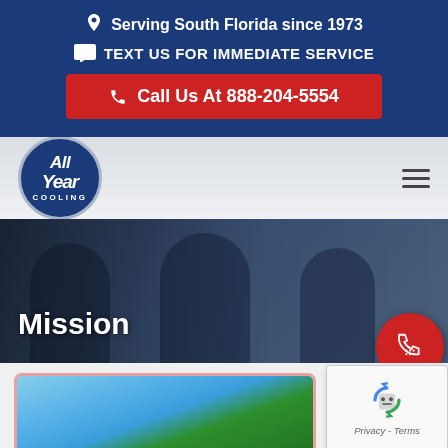Serving South Florida since 1973
TEXT US FOR IMMEDIATE SERVICE
Call Us At 888-204-5554
[Figure (logo): All Year Cooling circular logo with blue background and white italic text]
Mission
[Figure (photo): Team of technicians in navy uniforms standing together, semi-transparent overlay on white nav bar background]
[Figure (other): Red circular floating phone/call button in bottom right of hero section]
[Figure (other): reCAPTCHA widget showing robot icon and Privacy-Terms text]
[Figure (photo): Pink-bordered card showing outdoor scene with palm trees and blue sky]